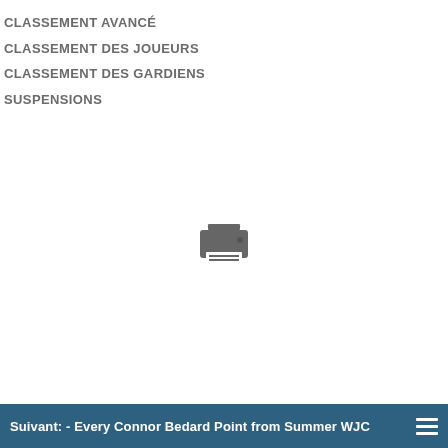CLASSEMENT AVANCÉ
CLASSEMENT DES JOUEURS
CLASSEMENT DES GARDIENS
SUSPENSIONS
[Figure (illustration): Printer icon, grey, centered on page]
Suivant: - Every Connor Bedard Point from Summer WJC